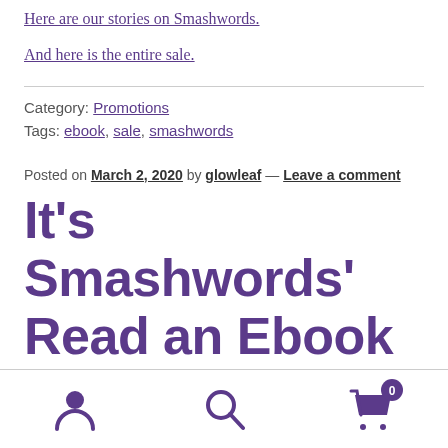Here are our stories on Smashwords.
And here is the entire sale.
Category: Promotions
Tags: ebook, sale, smashwords
Posted on March 2, 2020 by glowleaf — Leave a comment
It's Smashwords' Read an Ebook Week
[Figure (infographic): Bottom navigation bar with user account icon, search icon, and shopping cart icon with badge showing 0]